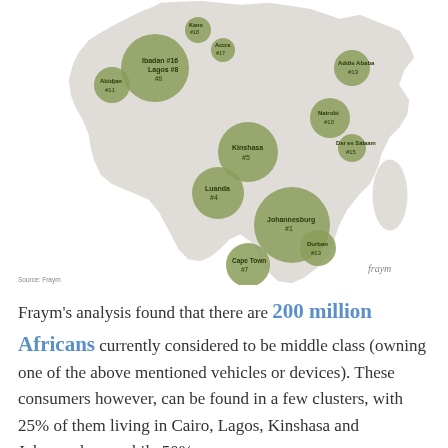[Figure (map): Map of Africa showing bubble markers for top African cities by middle class population. Cities labeled include: Abidjan #11, Ibadan #16, Kano #18, Lagos #8, Accra #17, Kinshasa #5, Luanda #4, Addis Ababa #13, Nairobi #10, Dar es Salaam #15, Johannesburg #1, Durban #13, Cape Town #7. Bubbles are green, sized by ranking.]
Source: Fraym
Fraym's analysis found that there are 200 million Africans currently considered to be middle class (owning one of the above mentioned vehicles or devices).  These consumers however, can be found in a few clusters, with 25% of them living in Cairo, Lagos, Kinshasa and Johannesburg, while 50%